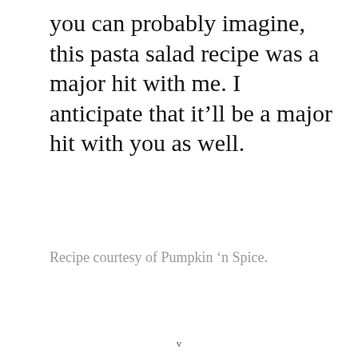you can probably imagine, this pasta salad recipe was a major hit with me. I anticipate that it'll be a major hit with you as well.
Recipe courtesy of Pumpkin 'n Spice.
v